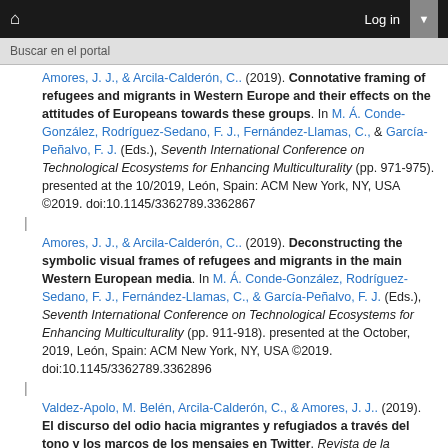Buscar en el portal | Log in
Amores, J. J., & Arcila-Calderón, C.. (2019). Connotative framing of refugees and migrants in Western Europe and their effects on the attitudes of Europeans towards these groups. In M. Á. Conde-González, Rodríguez-Sedano, F. J., Fernández-Llamas, C., & García-Peñalvo, F. J. (Eds.), Seventh International Conference on Technological Ecosystems for Enhancing Multiculturality (pp. 971-975). presented at the 10/2019, León, Spain: ACM New York, NY, USA ©2019. doi:10.1145/3362789.3362867
Amores, J. J., & Arcila-Calderón, C.. (2019). Deconstructing the symbolic visual frames of refugees and migrants in the main Western European media. In M. Á. Conde-González, Rodríguez-Sedano, F. J., Fernández-Llamas, C., & García-Peñalvo, F. J. (Eds.), Seventh International Conference on Technological Ecosystems for Enhancing Multiculturality (pp. 911-918). presented at the October, 2019, León, Spain: ACM New York, NY, USA ©2019. doi:10.1145/3362789.3362896
Valdez-Apolo, M. Belén, Arcila-Calderón, C., & Amores, J. J.. (2019). El discurso del odio hacia migrantes y refugiados a través del tono y los marcos de los mensajes en Twitter. Revista de la Asociación Española de Investigación de la Comunicación, 6(12)